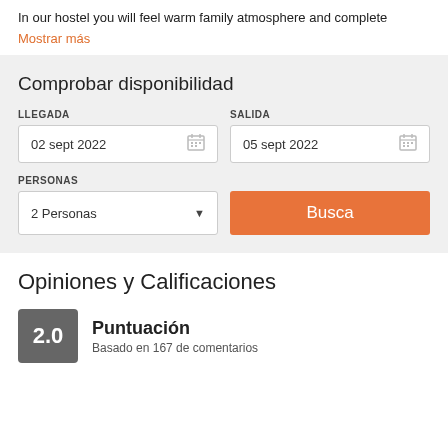In our hostel you will feel warm family atmosphere and complete
Mostrar más
Comprobar disponibilidad
LLEGADA
02 sept 2022
SALIDA
05 sept 2022
PERSONAS
2 Personas
Busca
Opiniones y Calificaciones
Puntuación
2.0
Basado en 167 de comentarios